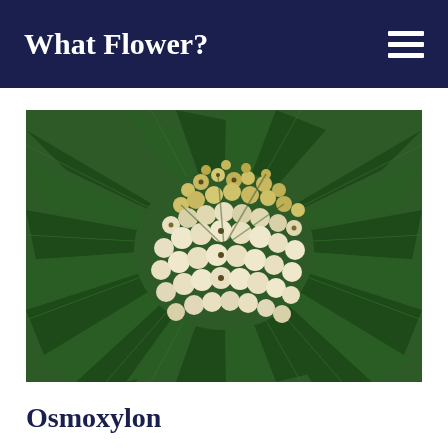What Flower?
[Figure (photo): Close-up photograph of an Osmoxylon plant showing clusters of small round yellow-white flower buds surrounded by long dark green strap-like leaves radiating outward from the center.]
Osmoxylon